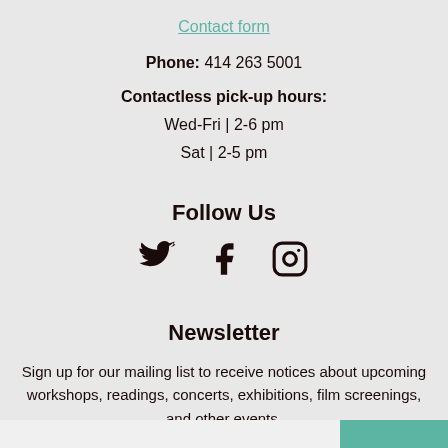Contact form
Phone: 414 263 5001
Contactless pick-up hours:
Wed-Fri | 2-6 pm
Sat | 2-5 pm
Follow Us
[Figure (other): Social media icons: Twitter bird, Facebook F, Instagram camera outline]
Newsletter
Sign up for our mailing list to receive notices about upcoming workshops, readings, concerts, exhibitions, film screenings, and other events.